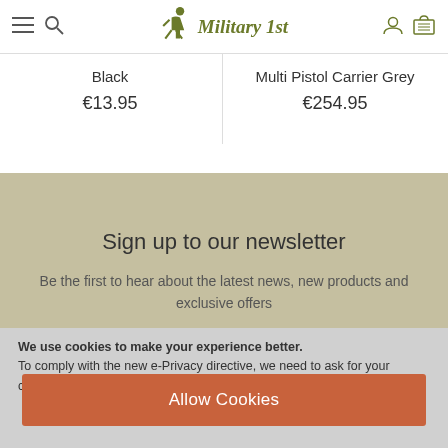Military 1st — navigation header with menu, search, account and cart icons
Black
€13.95
Multi Pistol Carrier Grey
€254.95
Sign up to our newsletter
Be the first to hear about the latest news, new products and exclusive offers
We use cookies to make your experience better. To comply with the new e-Privacy directive, we need to ask for your consent to set the cookies. Learn more
Allow Cookies